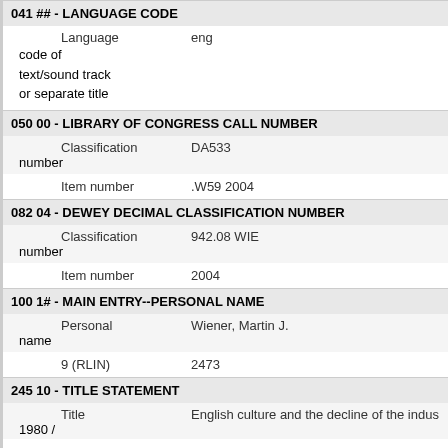041 ## - LANGUAGE CODE
Language    eng
code of text/sound track or separate title
050 00 - LIBRARY OF CONGRESS CALL NUMBER
Classification number    DA533
Item number    .W59 2004
082 04 - DEWEY DECIMAL CLASSIFICATION NUMBER
Classification number    942.08 WIE
Item number    2004
100 1# - MAIN ENTRY--PERSONAL NAME
Personal name    Wiener, Martin J.
9 (RLIN)    2473
245 10 - TITLE STATEMENT
Title    English culture and the decline of the indus... 1980 /